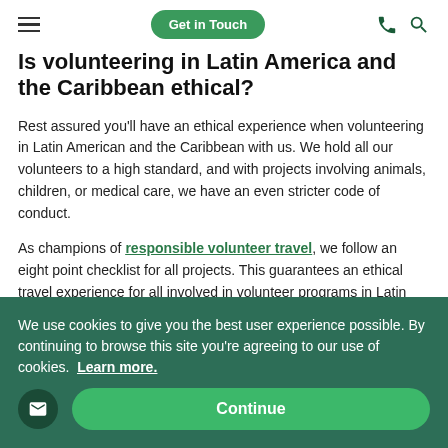Get in Touch
Is volunteering in Latin America and the Caribbean ethical?
Rest assured you'll have an ethical experience when volunteering in Latin American and the Caribbean with us. We hold all our volunteers to a high standard, and with projects involving animals, children, or medical care, we have an even stricter code of conduct.
As champions of responsible volunteer travel, we follow an eight point checklist for all projects. This guarantees an ethical travel experience for all involved in volunteer programs in Latin America and the Caribbean.
We use cookies to give you the best user experience possible. By continuing to browse this site you're agreeing to our use of cookies. Learn more.